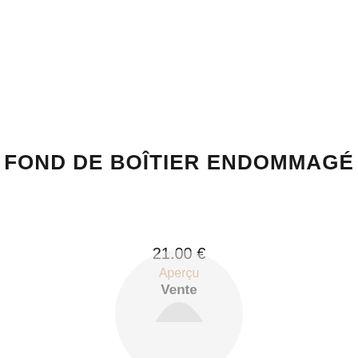FOND DE BOÎTIER ENDOMMAGÉ
21.00 €
Aperçu
Vente
[Figure (illustration): Partial watermark or logo circle visible at bottom center of page, light gray color]